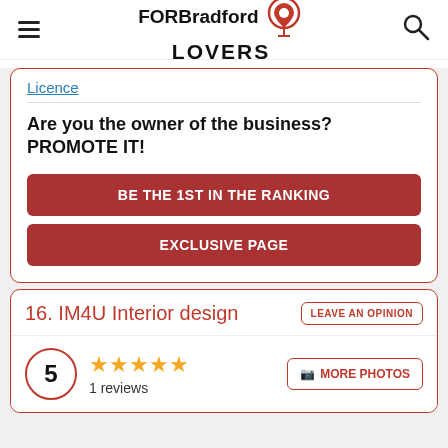FOR Bradford LOVERS
Licence
Are you the owner of the business? PROMOTE IT!
BE THE 1ST IN THE RANKING
EXCLUSIVE PAGE
16. IM4U Interior design
LEAVE AN OPINION
5 ★★★★★ 1 reviews
MORE PHOTOS